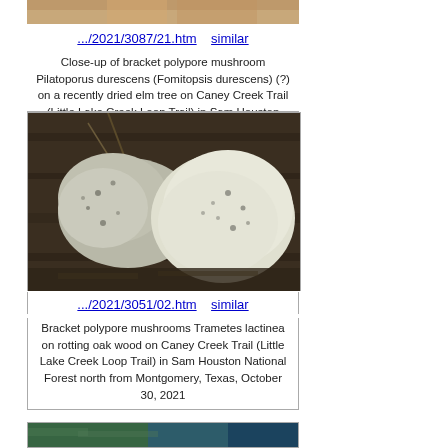[Figure (photo): Top portion of a bracket polypore mushroom photo, cropped at top of page]
.../2021/3087/21.htm   similar
Close-up of bracket polypore mushroom Pilatoporus durescens (Fomitopsis durescens) (?) on a recently dried elm tree on Caney Creek Trail (Little Lake Creek Loop Trail) in Sam Houston National Forest north from Montgomery, Texas, December 23, 2021
[Figure (photo): Bracket polypore mushrooms Trametes lactinea on rotting oak wood, white/grey colored fungi viewed from above]
.../2021/3051/02.htm   similar
Bracket polypore mushrooms Trametes lactinea on rotting oak wood on Caney Creek Trail (Little Lake Creek Loop Trail) in Sam Houston National Forest north from Montgomery, Texas, October 30, 2021
[Figure (photo): Partial view of another photo, showing green and dark blue tones, cropped at bottom of page]